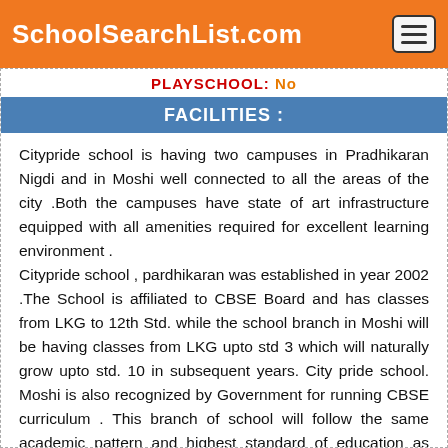SchoolSearchList.com
PLAYSCHOOL: No
FACILITIES :
Citypride school is having two campuses in Pradhikaran Nigdi and in Moshi well connected to all the areas of the city .Both the campuses have state of art infrastructure equipped with all amenities required for excellent learning environment . Citypride school , pardhikaran was established in year 2002 .The School is affiliated to CBSE Board and has classes from LKG to 12th Std. while the school branch in Moshi will be having classes from LKG upto std 3 which will naturally grow upto std. 10 in subsequent years. City pride school. Moshi is also recognized by Government for running CBSE curriculum . This branch of school will follow the same academic pattern and highest standard of education as pradhikaran branch . The CBSE board results of the school for the previous year is 100 % with more that 50% students securing 90% and above. Citypride junior college is the top college of Pune city for both science and commerce stream. As many as 36 students appeared in the one percent of board merit for year 2018 which